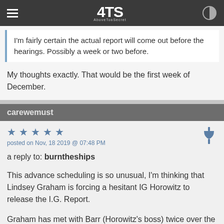AboveTopSecret navigation bar
I'm fairly certain the actual report will come out before the hearings. Possibly a week or two before.
My thoughts exactly. That would be the first week of December.
carewemust
posted on Nov, 18 2019 @ 07:48 PM
a reply to: burntheships
This advance scheduling is so unusual, I'm thinking that Lindsey Graham is forcing a hesitant IG Horowitz to release the I.G. Report.

Graham has met with Barr (Horowitz's boss) twice over the past month about this report and it's release. Each time, he's